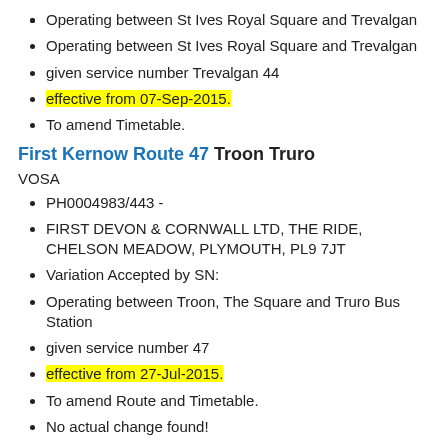Operating between St Ives Royal Square and Trevalgan
given service number Trevalgan 44
effective from 07-Sep-2015.
To amend Timetable.
First Kernow Route 47 Troon Truro
VOSA
PH0004983/443 -
FIRST DEVON & CORNWALL LTD, THE RIDE, CHELSON MEADOW, PLYMOUTH, PL9 7JT
Variation Accepted by SN:
Operating between Troon, The Square and Truro Bus Station
given service number 47
effective from 27-Jul-2015.
To amend Route and Timetable.
No actual change found!